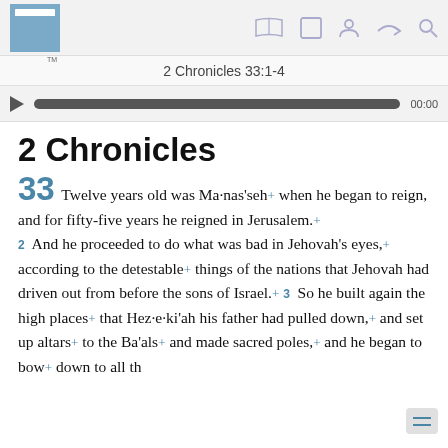2 Chronicles 33:1-4
2 Chronicles
33 Twelve years old was Ma·nas'seh+ when he began to reign, and for fifty-five years he reigned in Jerusalem.+ 2 And he proceeded to do what was bad in Jehovah's eyes,+ according to the detestable+ things of the nations that Jehovah had driven out from before the sons of Israel.+ 3 So he built again the high places+ that Hez·e·ki'ah his father had pulled down,+ and set up altars+ to the Ba'als+ and made sacred poles,+ and he began to bow+ down to all th